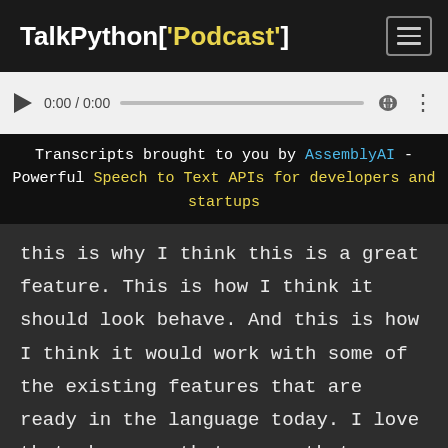TalkPython['Podcast']
[Figure (other): Audio player with play button, time display 0:00 / 0:00, progress bar, volume icon, and more options icon]
Transcripts brought to you by AssemblyAI - Powerful Speech to Text APIs for developers and startups
this is why I think this is a great feature. This is how I think it should look behave. And this is how I think it would work with some of the existing features that are ready in the language today. I love that, because that means that now you don't work there. I don't work